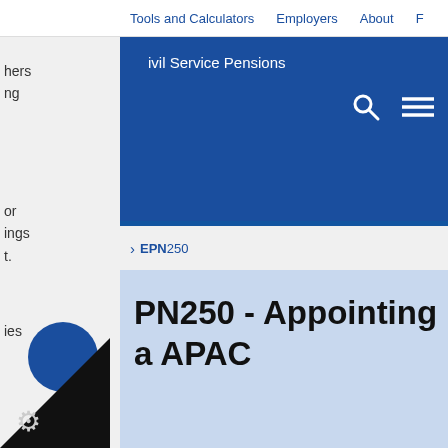Tools and Calculators   Employers   About
Civil Service Pensions
EPN250
EPN250 - Appointing an APAC
posted: 01/07/2009
ence: HR Managers, APAC Contract Managers and olicy teams
on: